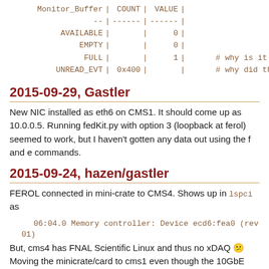| Monitor_Buffer | COUNT | VALUE |  |
| --- | --- | --- | --- |
| -- | ------ | ------ |  |
| AVAILABLE |  | 0 |  |
| EMPTY |  | 0 |  |
| FULL |  | 1 | # why is it fu |
| UNREAD_EVT | 0x400 |  | # why did this |
2015-09-29, Gastler
New NIC installed as eth6 on CMS1. It should come up as 10.0.0.5. Running fedKit.py with option 3 (loopback at ferol) seemed to work, but I haven't gotten any data out using the f and e commands.
2015-09-24, hazen/gastler
FEROL connected in mini-crate to CMS4. Shows up in lspci as
06:04.0 Memory controller: Device ecd6:fea0 (rev 01)
But, cms4 has FNAL Scientific Linux and thus no xDAQ 🙁 Moving the minicrate/card to cms1 even though the 10GbE